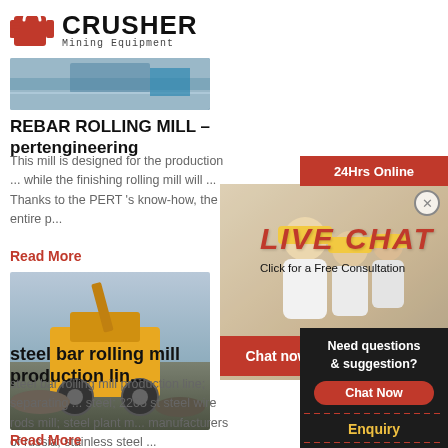[Figure (logo): Crusher Mining Equipment logo with red shopping bag icon and bold text]
[Figure (photo): Top cropped photo showing industrial processing equipment with blue tones]
REBAR ROLLING MILL – pertengineering
This mill is designed for the production ... while the finishing rolling mill will ... Thanks to the PERT 's know-how, the entire p...
Read More
[Figure (photo): Photo of large yellow mining/crushing equipment outdoors]
steel bar rolling mill production lin...
steel bar rolling mill production line; separating ... steel; 2205 st steel wire rods mill; steel plant m... manufacturers of russia; stainless steel ...
Read More
[Figure (infographic): Live chat popup overlay with workers in hard hats, LIVE CHAT heading, Click for a Free Consultation subtext, Chat now and Chat later buttons, and 24Hrs Online badge]
[Figure (infographic): Right sidebar with customer service agent photo, Need questions & suggestion?, Chat Now button, Enquiry text, limingjlmofen@sina.com email]